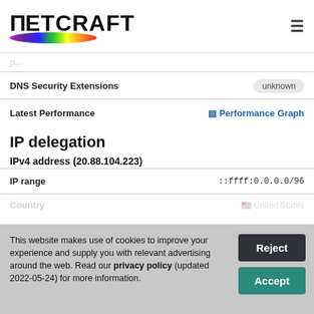[Figure (logo): Netcraft logo with rainbow brush stroke and bold text]
| DNS Security Extensions | unknown |
| Latest Performance | Performance Graph |
IP delegation
IPv4 address (20.88.104.223)
| IP range | ::ffff:0.0.0.0/96 |
| Country | United States |
This website makes use of cookies to improve your experience and supply you with relevant advertising around the web. Read our privacy policy (updated 2022-05-24) for more information.